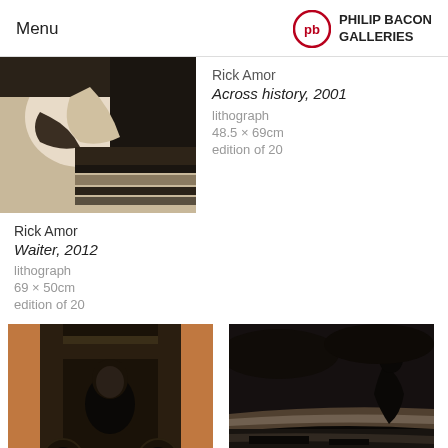Menu | PHILIP BACON GALLERIES
[Figure (photo): Black and white lithograph showing a reclining figure, partial view, dark tones — Across history, 2001]
Rick Amor
Across history, 2001
lithograph
48.5 × 69cm
edition of 20
Rick Amor
Waiter, 2012
lithograph
69 × 50cm
edition of 20
[Figure (photo): Lithograph with orange and black tones showing a dark bearded figure in an architectural doorway setting with circular elements]
[Figure (photo): Black lithograph showing a silhouetted crouching figure against a dramatic dark sky with a reflective landscape]